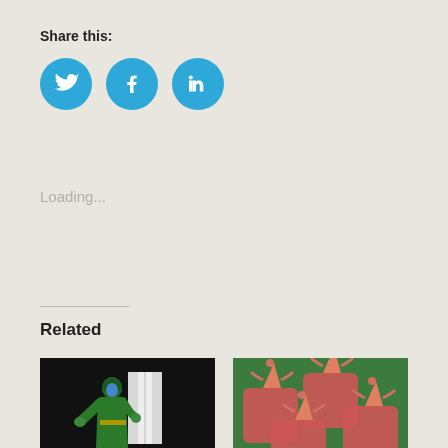Share this:
[Figure (infographic): Three circular social media share buttons: Twitter (bird icon), Facebook (f icon), LinkedIn (in icon), all in teal/blue color]
Loading...
[Figure (infographic): Horizontal divider line]
Related
[Figure (photo): Photo of a Marvel Crisis Protocol miniature figure of Ronan the Accuser painted in green costume with blue face, dark background with light panel behind]
Marvel: Crisis Protocol – Ronan the Accuser
Mar 10, 2022
In "Painting"
[Figure (photo): Photo of multiple TSM Geek miniature figures painted in red/orange on green mat background]
TSM Geek – May/June 2021
Jul 8, 2021
In "Monthly Geekiness"